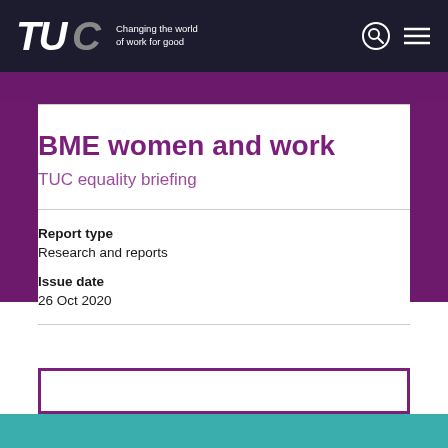TUC Changing the world of work for good
BME women and work
TUC equality briefing
Report type
Research and reports
Issue date
26 Oct 2020